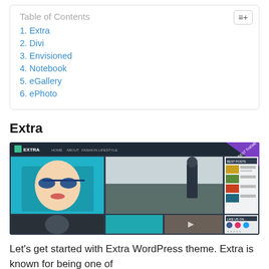Table of Contents
1. Extra
2. Divi
3. Envisioned
4. Notebook
5. eGallery
6. ePhoto
Extra
[Figure (screenshot): Screenshot of the Extra WordPress theme website interface showing a magazine-style layout with a dark header, a woman with sunglasses on a blue background, a fashion photo, and multiple article thumbnails.]
Let's get started with Extra WordPress theme. Extra is known for being one of